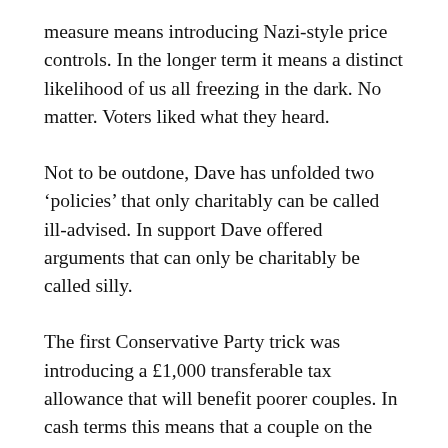measure means introducing Nazi-style price controls. In the longer term it means a distinct likelihood of us all freezing in the dark. No matter. Voters liked what they heard.
Not to be outdone, Dave has unfolded two ‘policies’ that only charitably can be called ill-advised. In support Dave offered arguments that can only be charitably be called silly.
The first Conservative Party trick was introducing a £1,000 transferable tax allowance that will benefit poorer couples. In cash terms this means that a couple on the basic tax rate will be a whopping 54p a day better off. Half a Mars bar.